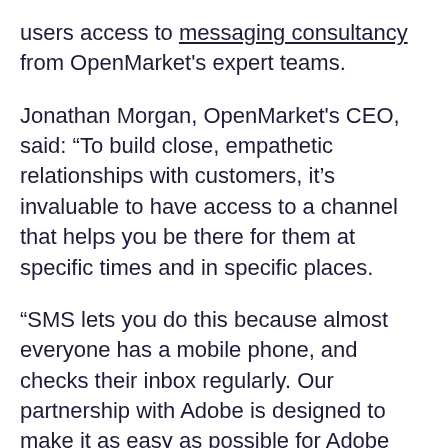users access to messaging consultancy from OpenMarket's expert teams.
Jonathan Morgan, OpenMarket's CEO, said: “To build close, empathetic relationships with customers, it’s invaluable to have access to a channel that helps you be there for them at specific times and in specific places.
“SMS lets you do this because almost everyone has a mobile phone, and checks their inbox regularly. Our partnership with Adobe is designed to make it as easy as possible for Adobe Campaign customers to reach their audiences on what has become the most effective communication channel for marketers.”